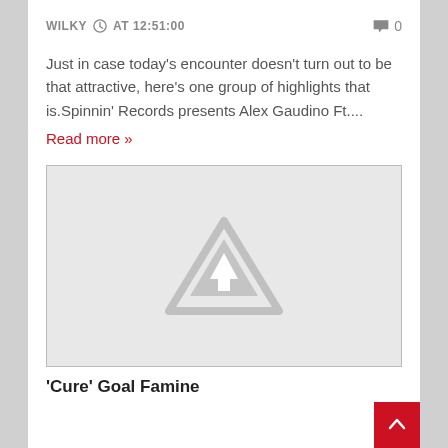WILKY  ⊙ AT 12:51:00    💬 0
Just in case today's encounter doesn't turn out to be that attractive, here's one group of highlights that is.Spinnin' Records presents Alex Gaudino Ft....
Read more »
[Figure (illustration): Placeholder image with grey background and a grey warning/image-missing triangle icon in the center]
'Cure' Goal Famine